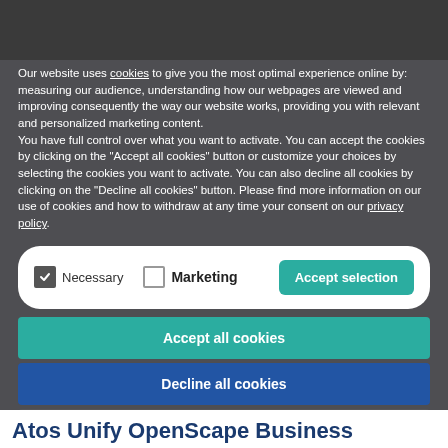Our website uses cookies to give you the most optimal experience online by: measuring our audience, understanding how our webpages are viewed and improving consequently the way our website works, providing you with relevant and personalized marketing content.
You have full control over what you want to activate. You can accept the cookies by clicking on the "Accept all cookies" button or customize your choices by selecting the cookies you want to activate. You can also decline all cookies by clicking on the "Decline all cookies" button. Please find more information on our use of cookies and how to withdraw at any time your consent on our privacy policy.
Necessary   Marketing   Accept selection
Accept all cookies
Decline all cookies
Privacy policy
Atos Unify OpenScape Business